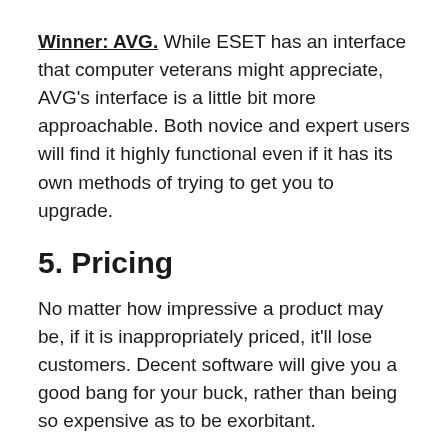Winner: AVG. While ESET has an interface that computer veterans might appreciate, AVG's interface is a little bit more approachable. Both novice and expert users will find it highly functional even if it has its own methods of trying to get you to upgrade.
5. Pricing
No matter how impressive a product may be, if it is inappropriately priced, it'll lose customers. Decent software will give you a good bang for your buck, rather than being so expensive as to be exorbitant.
AVG's free version doesn't cost anything, but then again, it's not worth much, either. AVG Internet Security, the first paid option from AVG, provides you with 10 licenses for $79.99 per year. This price is quite spiky compared to the entry prices for many competitors